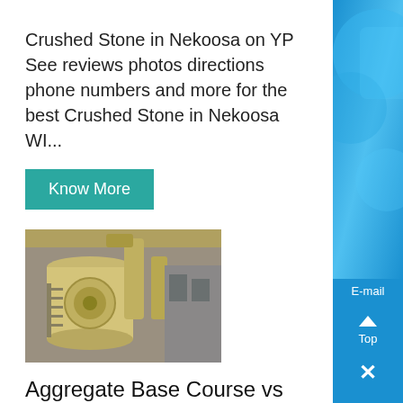Crushed Stone in Nekoosa on YP See reviews photos directions phone numbers and more for the best Crushed Stone in Nekoosa WI...
Know More
[Figure (photo): Industrial grinding/milling machine with yellow/beige colored equipment and pipes in a factory setting]
Aggregate Base Course vs Crushed
Aggregate base is typically made by combining different sizes of crushed rock to achieve a certain final desired s of properti Aggregates are split into two main categories fine aggregate and coarse aggregate Fine aggregates a
[Figure (screenshot): Blue sidebar with Chat, E-mail, Top navigation buttons and a close (x) button, with decorative blue image at top]